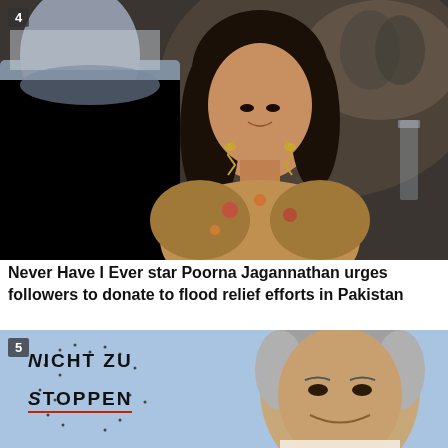[Figure (photo): Photo of Poorna Jagannathan at a formal event, wearing ornate earrings and a floral jacket, with a man in a grey suit in the foreground. Badge '4' in top-left corner.]
Never Have I Ever star Poorna Jagannathan urges followers to donate to flood relief efforts in Pakistan
[Figure (photo): Photo of a man (Shahbaz Sharif) smiling against a light blue background, with text overlay 'NICHT ZU STOPPEN' (German for 'Unstoppable'). Badge '5' in top-left corner.]